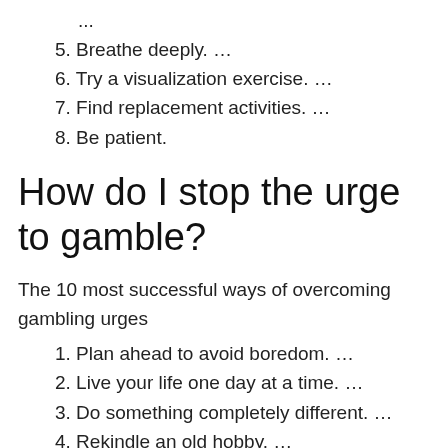...
5. Breathe deeply. ...
6. Try a visualization exercise. ...
7. Find replacement activities. ...
8. Be patient.
How do I stop the urge to gamble?
The 10 most successful ways of overcoming gambling urges
1. Plan ahead to avoid boredom. ...
2. Live your life one day at a time. ...
3. Do something completely different. ...
4. Rekindle an old hobby. ...
5. Be especially vigilant leading up to special events...